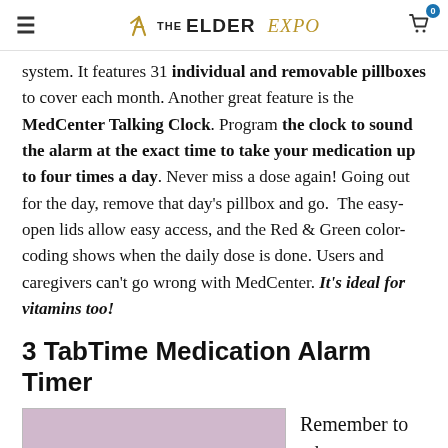THE ELDER EXPO
system. It features 31 individual and removable pillboxes to cover each month. Another great feature is the MedCenter Talking Clock. Program the clock to sound the alarm at the exact time to take your medication up to four times a day. Never miss a dose again! Going out for the day, remove that day's pillbox and go. The easy-open lids allow easy access, and the Red & Green color-coding shows when the daily dose is done. Users and caregivers can't go wrong with MedCenter. It's ideal for vitamins too!
3 TabTime Medication Alarm Timer
[Figure (photo): Product photo of TabTime Medication Alarm Timer, pinkish/purple background]
Remember to take your